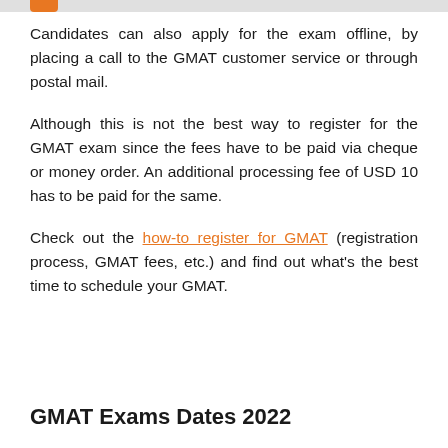Candidates can also apply for the exam offline, by placing a call to the GMAT customer service or through postal mail.
Although this is not the best way to register for the GMAT exam since the fees have to be paid via cheque or money order. An additional processing fee of USD 10 has to be paid for the same.
Check out the how-to register for GMAT (registration process, GMAT fees, etc.) and find out what's the best time to schedule your GMAT.
GMAT Exams Dates 2022